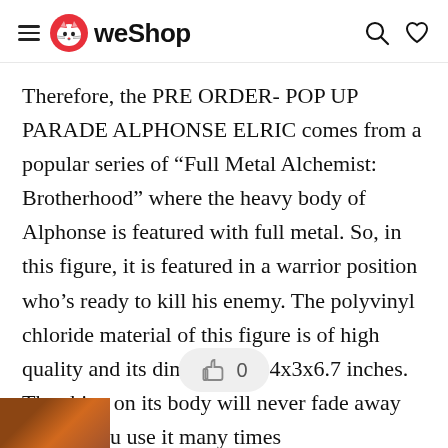WeShop
Therefore, the PRE ORDER- POP UP PARADE ALPHONSE ELRIC comes from a popular series of “Full Metal Alchemist: Brotherhood” where the heavy body of Alphonse is featured with full metal. So, in this figure, it is featured in a warrior position who’s ready to kill his enemy. The polyvinyl chloride material of this figure is of high quality and its dimension is 4x3x6.7 inches. The shine on its body will never fade away even if you use it many times